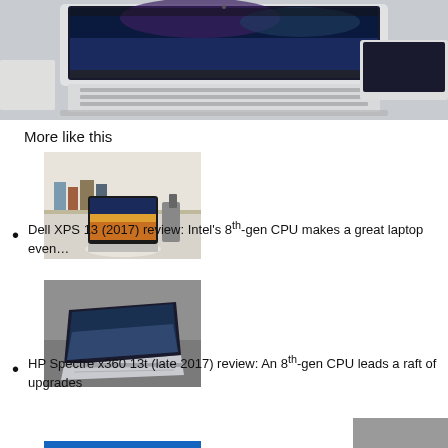[Figure (photo): Laptop computer on a white desk, screen showing colorful wallpaper, viewed from above/side angle. White/silver device on clean surface.]
More like this
[Figure (photo): Dell XPS 13 laptop open on a white circular stand, showing sunset/landscape wallpaper, bookshelf in background.]
Dell XPS 13 (2017) review: Intel's 8th-gen CPU makes a great laptop even...
[Figure (photo): HP Spectre x360 13t laptop open at angle on grey surface, silver color, showing landscape wallpaper.]
HP Spectre x360 13t (late 2017) review: An 8th-gen CPU leads a raft of upgrades